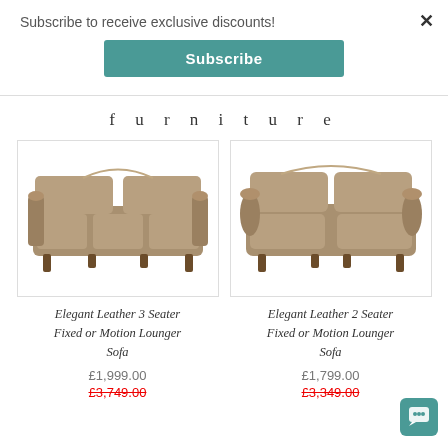Subscribe to receive exclusive discounts!
Subscribe
furniture
[Figure (photo): Photo of Elegant Leather 3 Seater Fixed or Motion Lounger Sofa - brown/taupe leather sofa]
Elegant Leather 3 Seater Fixed or Motion Lounger Sofa
£1,999.00
£3,749.00
[Figure (photo): Photo of Elegant Leather 2 Seater Fixed or Motion Lounger Sofa - brown/taupe leather sofa]
Elegant Leather 2 Seater Fixed or Motion Lounger Sofa
£1,799.00
£3,349.00